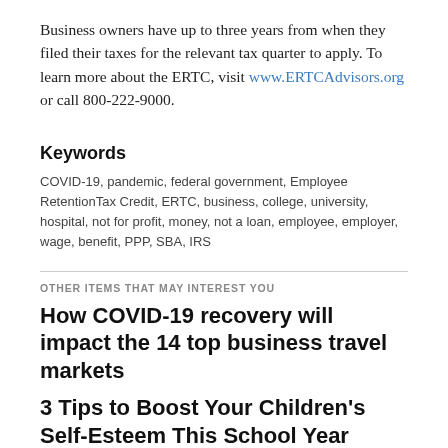Business owners have up to three years from when they filed their taxes for the relevant tax quarter to apply. To learn more about the ERTC, visit www.ERTCAdvisors.org or call 800-222-9000.
Keywords
COVID-19, pandemic, federal government, Employee RetentionTax Credit, ERTC, business, college, university, hospital, not for profit, money, not a loan, employee, employer, wage, benefit, PPP, SBA, IRS
OTHER ITEMS THAT MAY INTEREST YOU
How COVID-19 recovery will impact the 14 top business travel markets
3 Tips to Boost Your Children's Self-Esteem This School Year